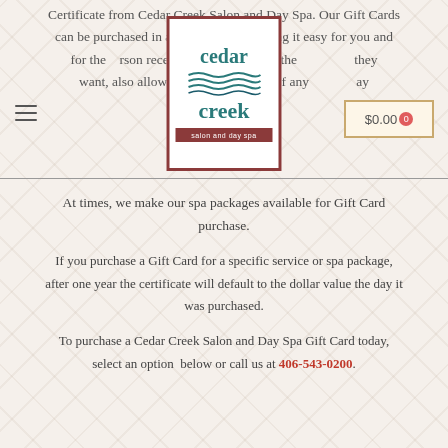Certificate from Cedar Creek Salon and Day Spa. Our Gift Cards can be purchased in any amount, making it easy for you and for the person receiving to pick the service(s) they want, also allowing them to take advantage of any service any day
[Figure (logo): Cedar Creek Salon and Day Spa logo: teal/green text with wave lines graphic, dark red border]
At times, we make our spa packages available for Gift Card purchase.
If you purchase a Gift Card for a specific service or spa package, after one year the certificate will default to the dollar value the day it was purchased.
To purchase a Cedar Creek Salon and Day Spa Gift Card today, select an option below or call us at 406-543-0200.